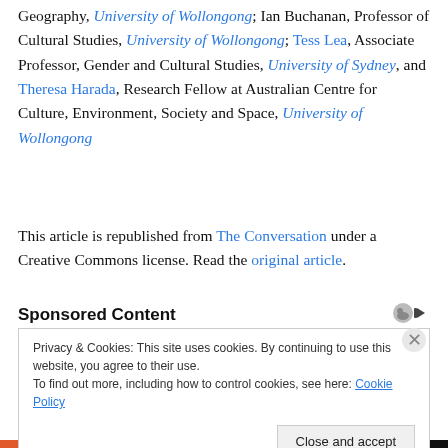Geography, University of Wollongong; Ian Buchanan, Professor of Cultural Studies, University of Wollongong; Tess Lea, Associate Professor, Gender and Cultural Studies, University of Sydney, and Theresa Harada, Research Fellow at Australian Centre for Culture, Environment, Society and Space, University of Wollongong
This article is republished from The Conversation under a Creative Commons license. Read the original article.
Sponsored Content
Privacy & Cookies: This site uses cookies. By continuing to use this website, you agree to their use.
To find out more, including how to control cookies, see here: Cookie Policy
Close and accept